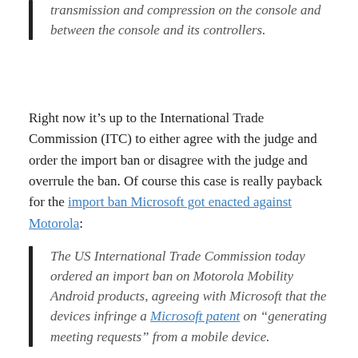transmission and compression on the console and between the console and its controllers.
Right now it's up to the International Trade Commission (ITC) to either agree with the judge and order the import ban or disagree with the judge and overrule the ban. Of course this case is really payback for the import ban Microsoft got enacted against Motorola:
The US International Trade Commission today ordered an import ban on Motorola Mobility Android products, agreeing with Microsoft that the devices infringe a Microsoft patent on "generating meeting requests" from a mobile device.